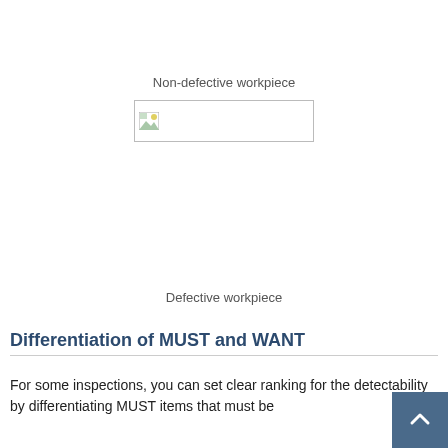Non-defective workpiece
[Figure (photo): Placeholder image box representing a non-defective workpiece photo (image failed to load, shown as broken image icon with border)]
Defective workpiece
Differentiation of MUST and WANT
For some inspections, you can set clear ranking for the detectability by differentiating MUST items that must be